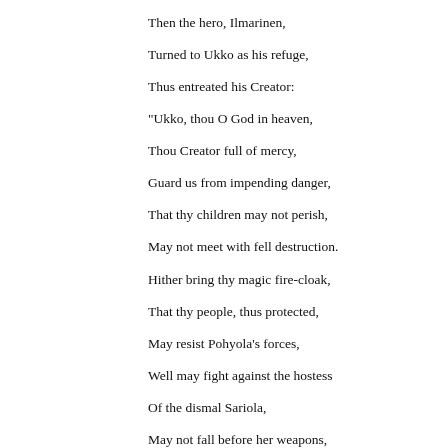Then the hero, Ilmarinen,
Turned to Ukko as his refuge,
Thus entreated his Creator:
"Ukko, thou O God in heaven,
Thou Creator full of mercy,
Guard us from impending danger,
That thy children may not perish,
May not meet with fell destruction.
Hither bring thy magic fire-cloak,
That thy people, thus protected,
May resist Pohyola's forces,
Well may fight against the hostess
Of the dismal Sariola,
May not fall before her weapons,
May not in the deep-sea perish!"
Then the ancient Wainamoinen
Thus addressed the ancient Louhi:
"O thou hostess of Pohyola,
Wilt thou now divide the Sampo,
On the fog-point in the water,
On the island forest-covered?
Thus the Northland hostess answered:
"I will not divide the Sampo,
Not with thee, thou evil wizard,
Not with wicked Wainamoinen!"